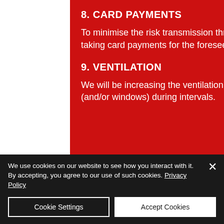8. CARD PAYMENTS
To minimise the risk transmission through physical contact we will only be taking card payments for the foreseeable future. Evidently, cash is not king.
9. VENTILATION
We will be increasing the ventilation during performances by opening doors (and/or windows) during intervals.
We use cookies on our website to see how you interact with it. By accepting, you agree to our use of such cookies. Privacy Policy
Cookie Settings
Accept Cookies